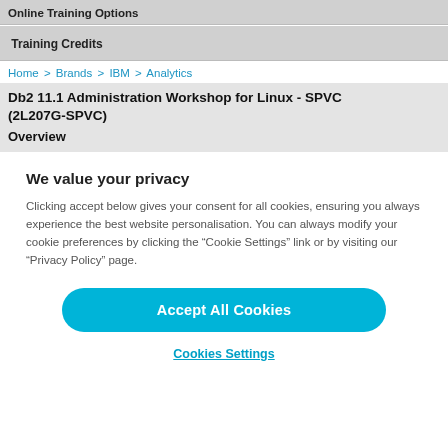Online Training Options
Training Credits
Home > Brands > IBM > Analytics
Db2 11.1 Administration Workshop for Linux - SPVC (2L207G-SPVC)
Overview
We value your privacy
Clicking accept below gives your consent for all cookies, ensuring you always experience the best website personalisation. You can always modify your cookie preferences by clicking the “Cookie Settings” link or by visiting our “Privacy Policy” page.
Accept All Cookies
Cookies Settings